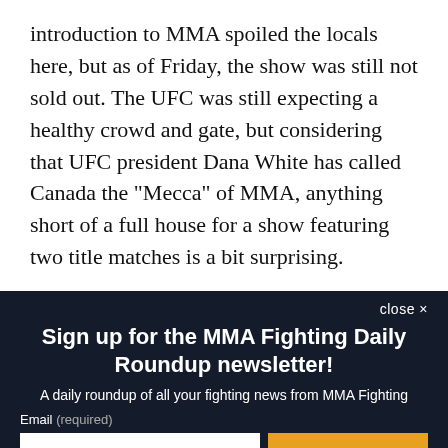introduction to MMA spoiled the locals here, but as of Friday, the show was still not sold out. The UFC was still expecting a healthy crowd and gate, but considering that UFC president Dana White has called Canada the "Mecca" of MMA, anything short of a full house for a show featuring two title matches is a bit surprising.
close ×
Sign up for the MMA Fighting Daily Roundup newsletter!
A daily roundup of all your fighting news from MMA Fighting
Email (required)
SUBSCRIBE
By submitting your email, you agree to our Terms and Privacy Notice. You can opt out at any time. This site is protected by reCAPTCHA and the Google Privacy Policy and Terms of Service apply.